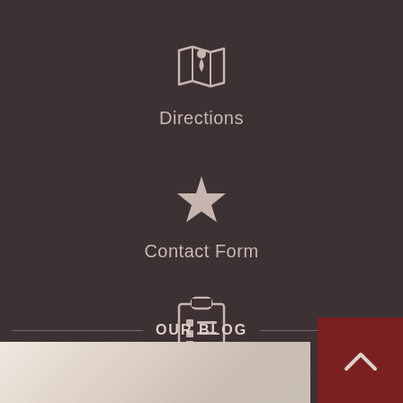[Figure (infographic): Map pin / directions icon (white outline map with location pin)]
Directions
[Figure (infographic): Star icon for Contact Form]
Contact Form
[Figure (infographic): Clipboard/list icon for My Account]
My Account
OUR BLOG
[Figure (photo): Interior room photo with light tones, partially visible at the bottom]
[Figure (infographic): Back to top arrow button in dark red]